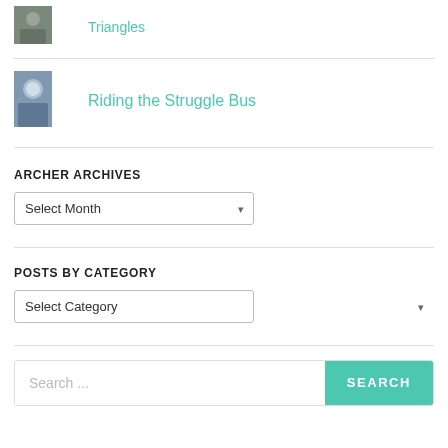[Figure (photo): Small square thumbnail photo of a person outdoors]
Triangles
[Figure (photo): Small square thumbnail photo of a smiling person]
Riding the Struggle Bus
ARCHER ARCHIVES
Select Month
POSTS BY CATEGORY
Select Category
Search ...